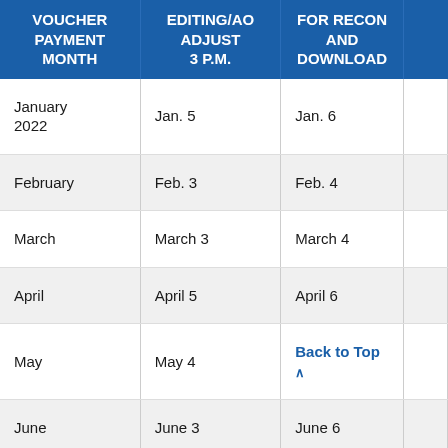| VOUCHER PAYMENT MONTH | EDITING/AO ADJUST 3 P.M. | FOR RECON AND DOWNLOAD |  |
| --- | --- | --- | --- |
| January 2022 | Jan. 5 | Jan. 6 |  |
| February | Feb. 3 | Feb. 4 |  |
| March | March 3 | March 4 |  |
| April | April 5 | April 6 |  |
| May | May 4 | Back to Top ^ |  |
| June | June 3 | June 6 |  |